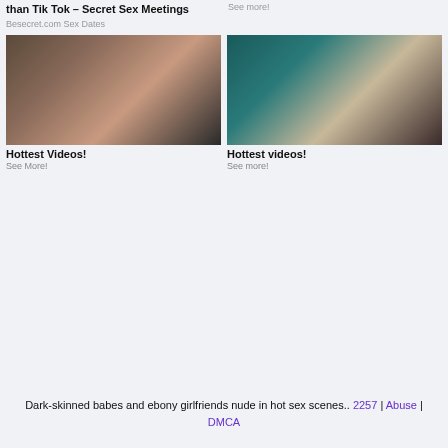than Tik Tok – Secret Sex Meetings
Besecret.com Sex Dates
See more!
[Figure (photo): Adult content thumbnail image left]
[Figure (photo): Adult content thumbnail image right]
Hottest Videos!
See More!
Hottest videos!
See more!
Dark-skinned babes and ebony girlfriends nude in hot sex scenes.. 2257 | Abuse | DMCA